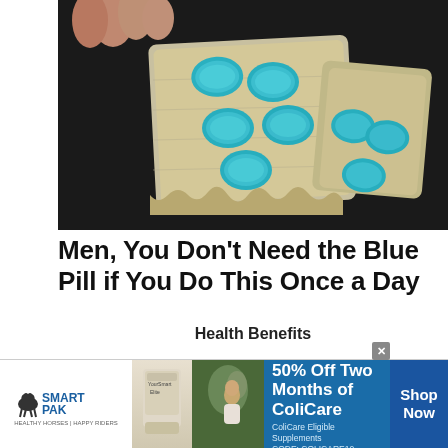[Figure (photo): Close-up photo of a hand holding two blister packs of blue diamond-shaped pills (Viagra-type medication) against a dark background]
Men, You Don't Need the Blue Pill if You Do This Once a Day
Health Benefits
[Figure (photo): Partial view of a car interior, dark scene, bottom of page]
[Figure (photo): SmartPak advertisement banner: SmartPak logo, product image, horse and rider photo, '50% Off Two Months of ColiCare' text, 'ColiCare Eligible Supplements CODE: COLICARE10', Shop Now button]